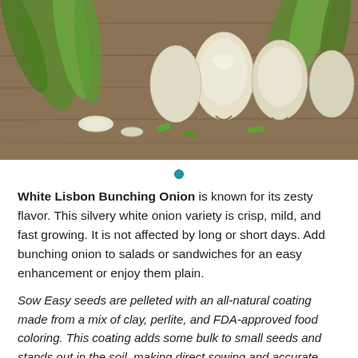[Figure (photo): Close-up photograph of White Lisbon Bunching Onions with green stalks and white bulbs on a wooden surface, some sliced]
White Lisbon Bunching Onion is known for its zesty flavor. This silvery white onion variety is crisp, mild, and fast growing. It is not affected by long or short days. Add bunching onion to salads or sandwiches for an easy enhancement or enjoy them plain.
Sow Easy seeds are pelleted with an all-natural coating made from a mix of clay, perlite, and FDA-approved food coloring. This coating adds some bulk to small seeds and stands out in the soil, making direct sowing and accurate spacing easier than ever. However, the coating does add a few days to the germination time when compared to uncoated seed.
FM Pelleted Seeds: 150